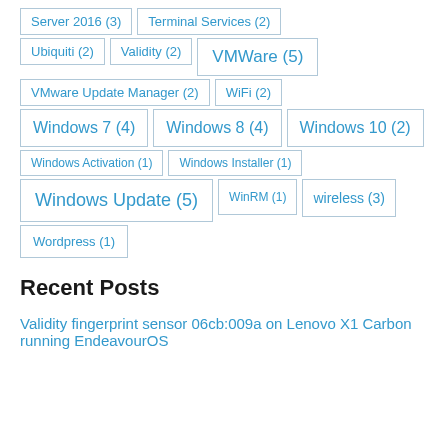Server 2016 (3)
Terminal Services (2)
Ubiquiti (2)
Validity (2)
VMWare (5)
VMware Update Manager (2)
WiFi (2)
Windows 7 (4)
Windows 8 (4)
Windows 10 (2)
Windows Activation (1)
Windows Installer (1)
Windows Update (5)
WinRM (1)
wireless (3)
Wordpress (1)
Recent Posts
Validity fingerprint sensor 06cb:009a on Lenovo X1 Carbon running EndeavourOS